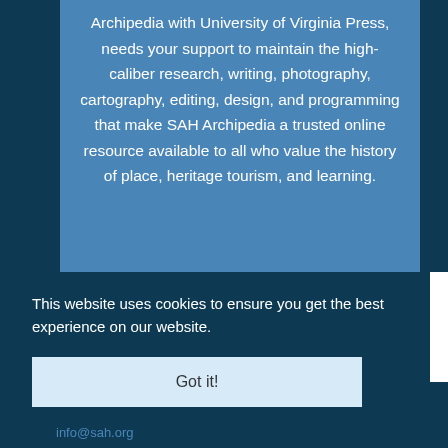Archipedia with University of Virginia Press, needs your support to maintain the high-caliber research, writing, photography, cartography, editing, design, and programming that make SAH Archipedia a trusted online resource available to all who value the history of place, heritage tourism, and learning.
This website uses cookies to ensure you get the best experience on our website.
Got it!
info@sah.org